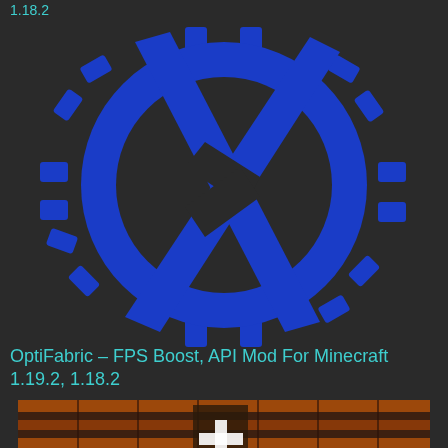1.18.2
[Figure (logo): Blue circular gear/compass logo with a diagonal slash through it (OptiFabric mod logo) on dark background]
OptiFabric – FPS Boost, API Mod For Minecraft 1.19.2, 1.18.2
[Figure (screenshot): Minecraft screenshot showing a dungeon/nether scene with orange/red brick textures and a white plus sign, overlaid with red bold text reading ULTRA FPS BOOST]